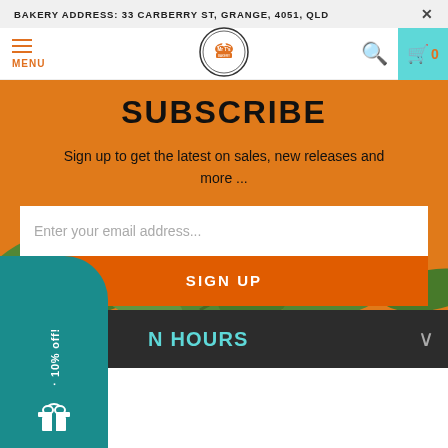BAKERY ADDRESS: 33 CARBERRY ST, GRANGE, 4051, QLD
[Figure (screenshot): Navigation bar with hamburger menu (MENU), Mr T's bakery logo in center, search icon and teal cart box with 0 on the right]
SUBSCRIBE
Sign up to get the latest on sales, new releases and more ...
Enter your email address...
SIGN UP
N HOURS
[Figure (infographic): Teal sidebar badge with vertical text '10% off!' and a gift box icon]